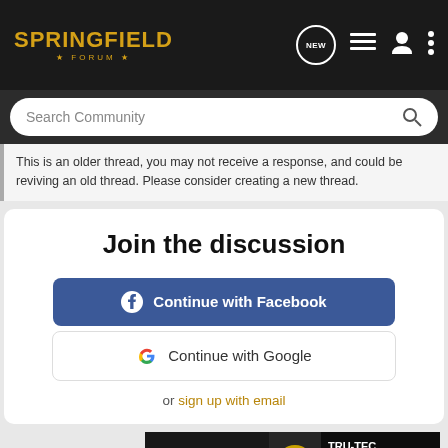SPRINGFIELD FORUM
Search Community
This is an older thread, you may not receive a response, and could be reviving an old thread. Please consider creating a new thread.
Join the discussion
Continue with Facebook
Continue with Google
or sign up with email
[Figure (screenshot): TRUGLO TRU-TEC MICRO advertisement banner with green logo and red dot sight image]
Reco